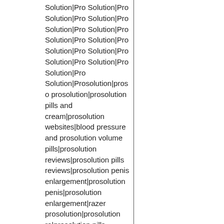Solution|Pro Solution|Pro Solution|Pro Solution|Pro Solution|Pro Solution|Pro Solution|Pro Solution|Pro Solution|Pro Solution|Pro Solution|Pro Solution|Pro Solution|Pro Solution|Prosolution|proso prosolution|prosolution pills and cream|prosolution websites|blood pressure and prosolution volume pills|prosolution reviews|prosolution pills reviews|prosolution penis enlargement|prosolution penis|prosolution enlargement|razer prosolution|prosolution ro|prosolution pills